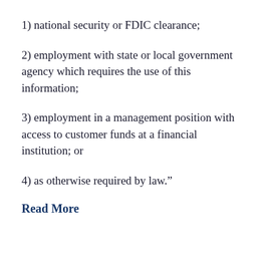1) national security or FDIC clearance;
2) employment with state or local government agency which requires the use of this information;
3) employment in a management position with access to customer funds at a financial institution; or
4) as otherwise required by law.”
Read More